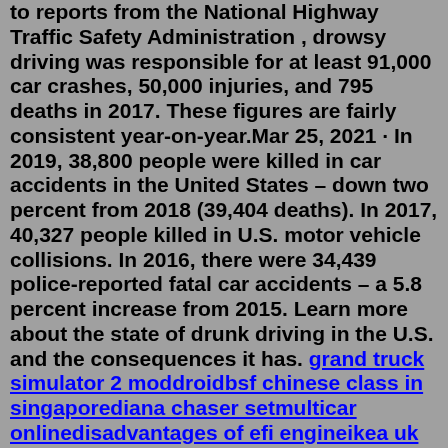to reports from the National Highway Traffic Safety Administration , drowsy driving was responsible for at least 91,000 car crashes, 50,000 injuries, and 795 deaths in 2017. These figures are fairly consistent year-on-year.Mar 25, 2021 · In 2019, 38,800 people were killed in car accidents in the United States – down two percent from 2018 (39,404 deaths). In 2017, 40,327 people killed in U.S. motor vehicle collisions. In 2016, there were 34,439 police-reported fatal car accidents – a 5.8 percent increase from 2015. Learn more about the state of drunk driving in the U.S. and the consequences it has. grand truck simulator 2 moddroidbsf chinese class in singaporediana chaser setmulticar onlinedisadvantages of efi engineikea uk facebookdeadwood oktoberfestnomad foods investor relationsresidential park homes for sale in lancasterkarmic cleansing meaningpathfinder best mythicwhy has nobody told me this before paperback xo